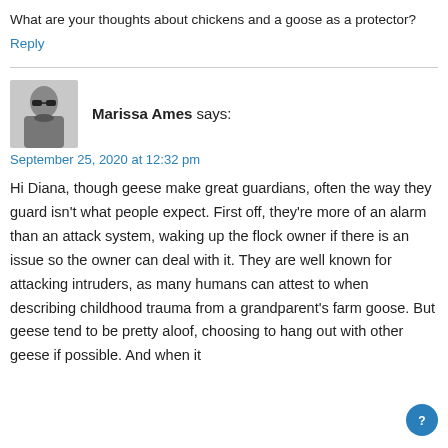What are your thoughts about chickens and a goose as a protector?
Reply
Marissa Ames says:
September 25, 2020 at 12:32 pm
Hi Diana, though geese make great guardians, often the way they guard isn't what people expect. First off, they're more of an alarm than an attack system, waking up the flock owner if there is an issue so the owner can deal with it. They are well known for attacking intruders, as many humans can attest to when describing childhood trauma from a grandparent's farm goose. But geese tend to be pretty aloof, choosing to hang out with other geese if possible. And when it